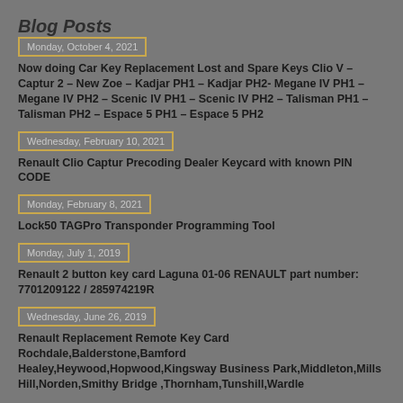Blog Posts
Monday, October 4, 2021
Now doing Car Key Replacement Lost and Spare Keys Clio V – Captur 2 – New Zoe – Kadjar PH1 – Kadjar PH2- Megane IV PH1 – Megane IV PH2 – Scenic IV PH1 – Scenic IV PH2 – Talisman PH1 – Talisman PH2 – Espace 5 PH1 – Espace 5 PH2
Wednesday, February 10, 2021
Renault Clio Captur Precoding Dealer Keycard with known PIN CODE
Monday, February 8, 2021
Lock50 TAGPro Transponder Programming Tool
Monday, July 1, 2019
Renault 2 button key card Laguna 01-06 RENAULT part number: 7701209122 / 285974219R
Wednesday, June 26, 2019
Renault Replacement Remote Key Card Rochdale,Balderstone,Bamford Healey,Heywood,Hopwood,Kingsway Business Park,Middleton,Mills Hill,Norden,Smithy Bridge ,Thornham,Tunshill,Wardle